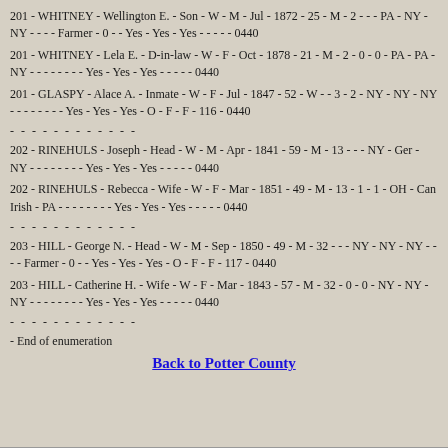201 - WHITNEY - Wellington E. - Son - W - M - Jul - 1872 - 25 - M - 2 - - - PA - NY - NY - - - - Farmer - 0 - - Yes - Yes - Yes - - - - - 0440
201 - WHITNEY - Lela E. - D-in-law - W - F - Oct - 1878 - 21 - M - 2 - 0 - 0 - PA - PA - NY - - - - - - - - Yes - Yes - Yes - - - - - 0440
201 - GLASPY - Alace A. - Inmate - W - F - Jul - 1847 - 52 - W - - 3 - 2 - NY - NY - NY - - - - - - - - Yes - Yes - Yes - O - F - F - 116 - 0440
- - - - - - - - - - - -
202 - RINEHULS - Joseph - Head - W - M - Apr - 1841 - 59 - M - 13 - - - NY - Ger - NY - - - - - - - - Yes - Yes - Yes - - - - - 0440
202 - RINEHULS - Rebecca - Wife - W - F - Mar - 1851 - 49 - M - 13 - 1 - 1 - OH - Can Irish - PA - - - - - - - - Yes - Yes - Yes - - - - - 0440
- - - - - - - - - - - -
203 - HILL - George N. - Head - W - M - Sep - 1850 - 49 - M - 32 - - - NY - NY - NY - - - - Farmer - 0 - - Yes - Yes - Yes - O - F - F - 117 - 0440
203 - HILL - Catherine H. - Wife - W - F - Mar - 1843 - 57 - M - 32 - 0 - 0 - NY - NY - NY - - - - - - - - Yes - Yes - Yes - - - - - 0440
- - - - - - - - - - - -
- End of enumeration
Back to Potter County